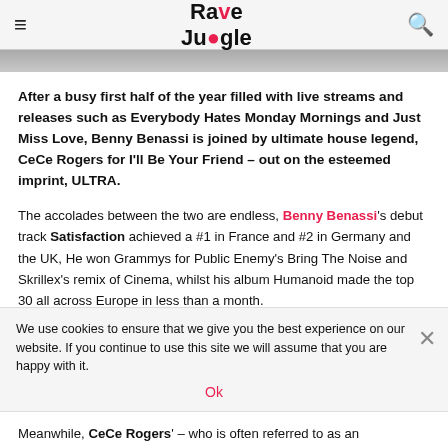Rave Jungle
[Figure (photo): Partial photo visible at top of article, cropped image strip]
After a busy first half of the year filled with live streams and releases such as Everybody Hates Monday Mornings and Just Miss Love, Benny Benassi is joined by ultimate house legend, CeCe Rogers for I'll Be Your Friend – out on the esteemed imprint, ULTRA.
The accolades between the two are endless, Benny Benassi's debut track Satisfaction achieved a #1 in France and #2 in Germany and the UK, He won Grammys for Public Enemy's Bring The Noise and Skrillex's remix of Cinema, whilst his album Humanoid made the top 30 all across Europe in less than a month.
We use cookies to ensure that we give you the best experience on our website. If you continue to use this site we will assume that you are happy with it.
Meanwhile, CeCe Rogers' – who is often referred to as an